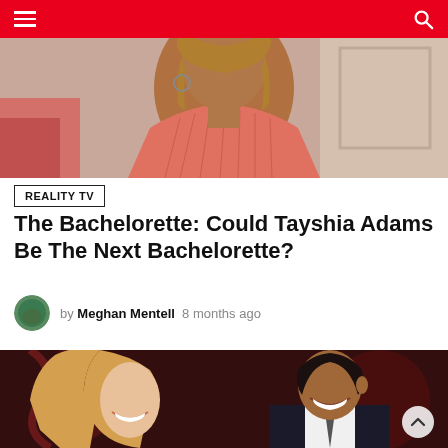REALITY TV — Navigation bar with hamburger menu and search icon
[Figure (photo): Close-up photo of a woman with blonde hair wearing a pink pleated one-shoulder dress, seated on a couch with a pink pillow visible in background]
REALITY TV
The Bachelorette: Could Tayshia Adams Be The Next Bachelorette?
by Meghan Mentell  8 months ago
[Figure (photo): Photo of a smiling blonde woman and a smiling man in a suit jacket seated together, with a decorative red and patterned background]